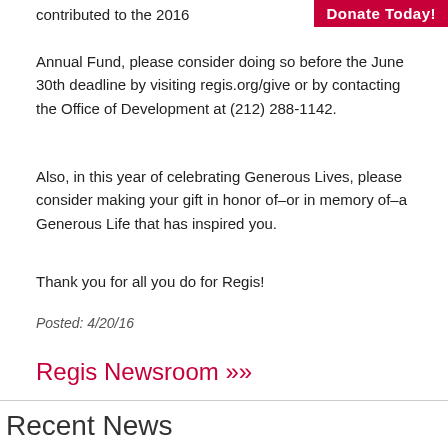[Figure (other): Red 'Donate Today!' button in top right corner]
contributed to the 2016 Annual Fund, please consider doing so before the June 30th deadline by visiting regis.org/give or by contacting the Office of Development at (212) 288-1142.
Also, in this year of celebrating Generous Lives, please consider making your gift in honor of–or in memory of–a Generous Life that has inspired you.
Thank you for all you do for Regis!
Posted: 4/20/16
Regis Newsroom >>
Recent News